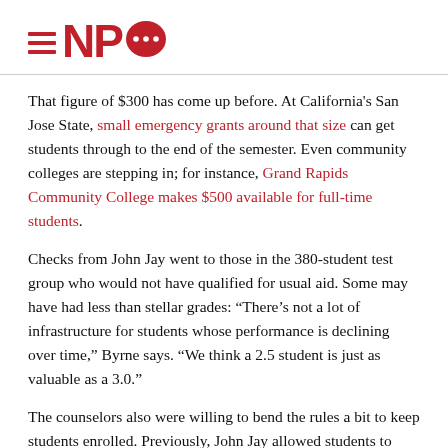[Figure (logo): NPQ (Nonprofit Quarterly) logo with hamburger menu icon, letters NP and red speech bubble with dots]
That figure of $300 has come up before. At California's San Jose State, small emergency grants around that size can get students through to the end of the semester. Even community colleges are stepping in; for instance, Grand Rapids Community College makes $500 available for full-time students.
Checks from John Jay went to those in the 380-student test group who would not have qualified for usual aid. Some may have had less than stellar grades: “There’s not a lot of infrastructure for students whose performance is declining over time,” Byrne says. “We think a 2.5 student is just as valuable as a 3.0.”
The counselors also were willing to bend the rules a bit to keep students enrolled. Previously, John Jay allowed students to withdraw only for documented mental challenges. The advisors got the rules changed